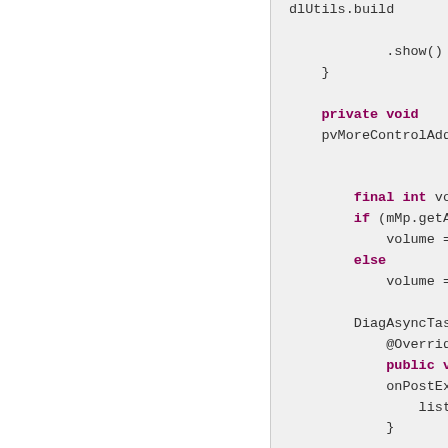Code snippet showing Java methods with keywords: private void pvMoreControlAddTo..., final int volu..., if (mMp.getAct..., volume = m..., else, volume = P..., DiagAsyncTask., @Override, public voi..., onPostExec..., listen..., }